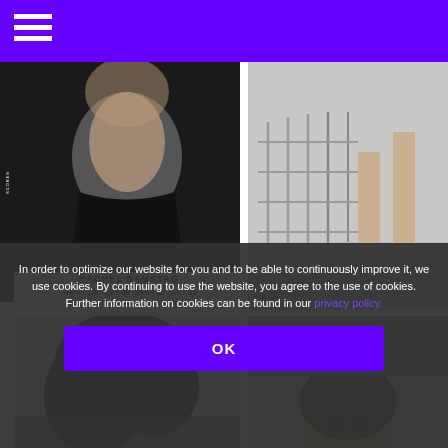Navigation menu (hamburger icon) on purple header bar
[Figure (photo): Black and white close-up photo of a person's neck/chest in a black top — model headshot/comp card image]
[Figure (photo): Black and white photo of a person's bare legs standing next to a metal grid/cage structure]
RACHEL SAMSTAG
height = 178  age = 88  waist = 88  size = 82
jeans = 40  hair = blond  eyes = brown
[Figure (photo): Black and white photo of a person with dark hair, top of head visible]
[Figure (photo): Black and white photo of a person with brown hair partially visible]
In order to optimize our website for you and to be able to continuously improve it, we use cookies. By continuing to use the website, you agree to the use of cookies. Further information on cookies can be found in our privacy policy.
OK